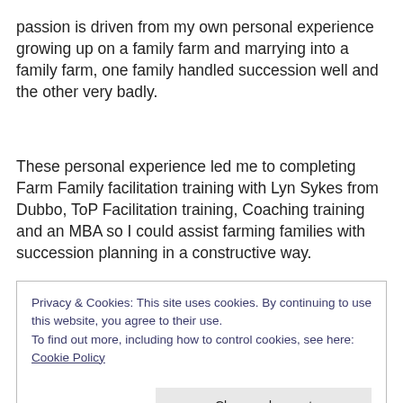passion is driven from my own personal experience growing up on a family farm and marrying into a family farm, one family handled succession well and the other very badly.
These personal experience led me to completing Farm Family facilitation training with Lyn Sykes from Dubbo, ToP Facilitation training, Coaching training and an MBA so I could assist farming families with succession planning in a constructive way.
Accountants, lawyers and financial planners all play
Privacy & Cookies: This site uses cookies. By continuing to use this website, you agree to their use.
To find out more, including how to control cookies, see here: Cookie Policy
Close and accept